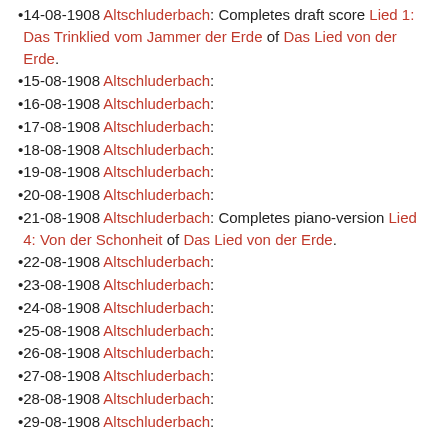14-08-1908 Altschluderbach: Completes draft score Lied 1: Das Trinklied vom Jammer der Erde of Das Lied von der Erde.
15-08-1908 Altschluderbach:
16-08-1908 Altschluderbach:
17-08-1908 Altschluderbach:
18-08-1908 Altschluderbach:
19-08-1908 Altschluderbach:
20-08-1908 Altschluderbach:
21-08-1908 Altschluderbach: Completes piano-version Lied 4: Von der Schonheit of Das Lied von der Erde.
22-08-1908 Altschluderbach:
23-08-1908 Altschluderbach:
24-08-1908 Altschluderbach:
25-08-1908 Altschluderbach:
26-08-1908 Altschluderbach:
27-08-1908 Altschluderbach:
28-08-1908 Altschluderbach:
29-08-1908 Altschluderbach: